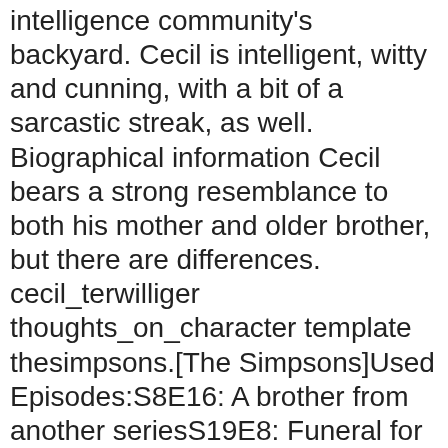intelligence community's backyard. Cecil is intelligent, witty and cunning, with a bit of a sarcastic streak, as well. Biographical information Cecil bears a strong resemblance to both his mother and older brother, but there are differences. cecil_terwilliger thoughts_on_character template thesimpsons.[The Simpsons]Used Episodes:S8E16: A brother from another seriesS19E8: Funeral for a Fiend "Brother from Another Series" He was also briefly given parole to attend the "funeral." David Hyde Pierce, Father: Robert Terwilliger Sr.Mother: Dame Judith UnderdunkSister-in-law: Francesca TerwilligerWife: Unknown Son: Neil TerwilligerNephew: Gino TerwilligerCousin: Bobby Terwilliger. Go. Status Eye color Cecil wasn't done yet, however, so he planned to blow up the dam as well as directly kill Bart and Sideshow Bob by shooting the dynamite stick (Bob had to use the Dynamite as a rope to catch Bart), although Bob and Bart foiled this effort by cutting the detonation charge, nearly killing themselves in the process. Single Cecil Terwilliger is an ex-limited time character released on April 14, 2015 during the Terwilligers 2015 Event. Television Little Cecil Terwilliger had his own separate show, receiving favorable